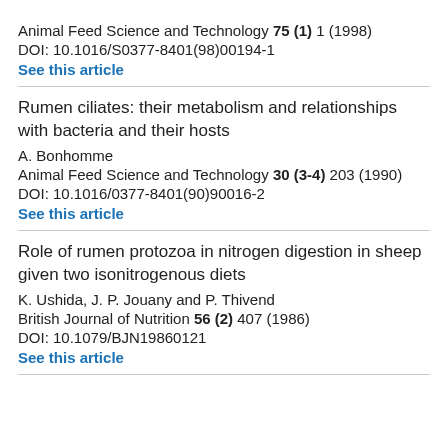Animal Feed Science and Technology 75 (1) 1 (1998)
DOI: 10.1016/S0377-8401(98)00194-1
See this article
Rumen ciliates: their metabolism and relationships with bacteria and their hosts
A. Bonhomme
Animal Feed Science and Technology 30 (3-4) 203 (1990)
DOI: 10.1016/0377-8401(90)90016-2
See this article
Role of rumen protozoa in nitrogen digestion in sheep given two isonitrogenous diets
K. Ushida, J. P. Jouany and P. Thivend
British Journal of Nutrition 56 (2) 407 (1986)
DOI: 10.1079/BJN19860121
See this article